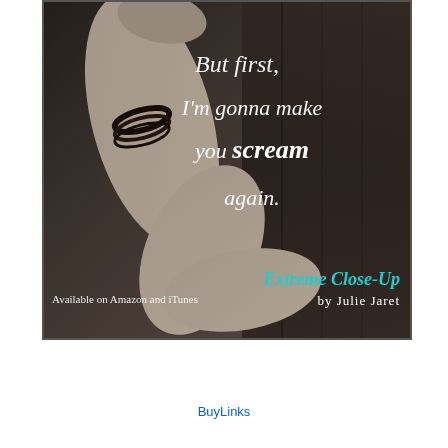[Figure (illustration): Book promotional image for 'Extreme Close-Up' by Julie Jaret. Sepia/black-and-white photo of a person's arm with a leather bracelet against a wooden surface. Overlaid white italic text reads: 'But first, I'm gonna make you scream again.' with 'scream' in bold. Bottom left: 'Available on Amazon and iTunes'. Bottom right: 'Extreme Close-Up' in teal cursive script, 'by Julie Jaret' in white text below.]
BuyLinks